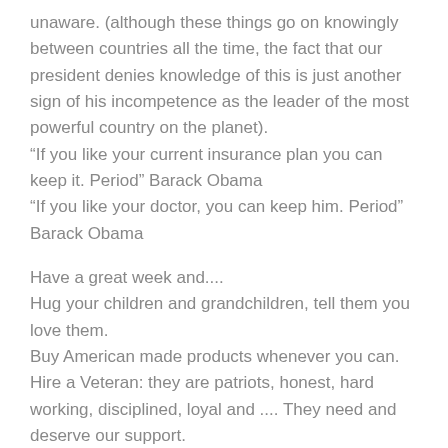unaware. (although these things go on knowingly between countries all the time, the fact that our president denies knowledge of this is just another sign of his incompetence as the leader of the most powerful country on the planet).
“If you like your current insurance plan you can keep it. Period” Barack Obama
“If you like your doctor, you can keep him. Period” Barack Obama
Have a great week and....
Hug your children and grandchildren, tell them you love them.
Buy American made products whenever you can.
Hire a Veteran: they are patriots, honest, hard working, disciplined, loyal and .... They need and deserve our support.
God Bless America